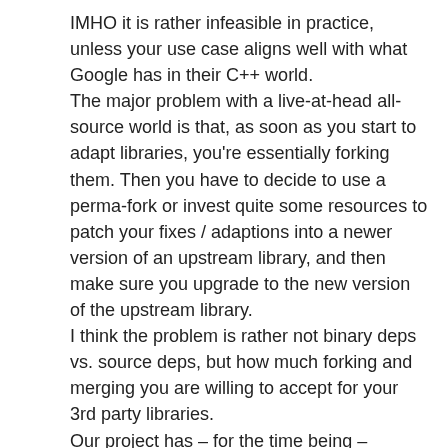IMHO it is rather infeasible in practice, unless your use case aligns well with what Google has in their C++ world. The major problem with a live-at-head all-source world is that, as soon as you start to adapt libraries, you're essentially forking them. Then you have to decide to use a perma-fork or invest quite some resources to patch your fixes / adaptions into a newer version of an upstream library, and then make sure you upgrade to the new version of the upstream library. I think the problem is rather not binary deps vs. source deps, but how much forking and merging you are willing to accept for your 3rd party libraries. Our project has – for the time being – implemented a checker that makes sure that we pull in only exactly one version of each library over the whole dependency tree of our apps. Since we're still on .NET Framework, we can manage